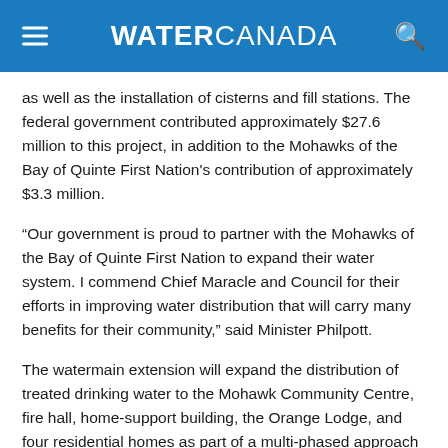WATER CANADA
as well as the installation of cisterns and fill stations. The federal government contributed approximately $27.6 million to this project, in addition to the Mohawks of the Bay of Quinte First Nation's contribution of approximately $3.3 million.
“Our government is proud to partner with the Mohawks of the Bay of Quinte First Nation to expand their water system. I commend Chief Maracle and Council for their efforts in improving water distribution that will carry many benefits for their community,” said Minister Philpott.
The watermain extension will expand the distribution of treated drinking water to the Mohawk Community Centre, fire hall, home-support building, the Orange Lodge, and four residential homes as part of a multi-phased approach to addressing long-term drinking water advisories in the